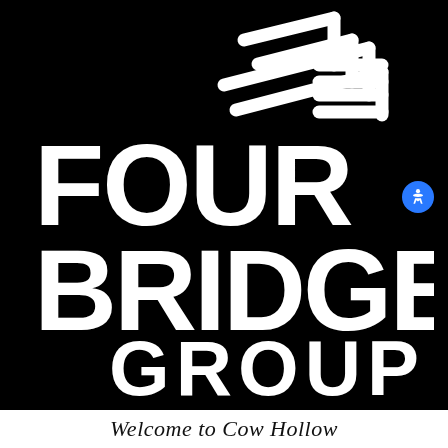[Figure (logo): Four Bridges Group logo: white bold text 'FOUR BRIDGES GROUP' on black background with abstract bridge/path icon lines in upper right]
Welcome to Cow Hollow